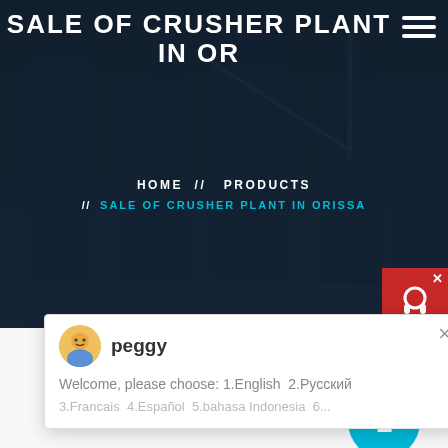SALE OF CRUSHER PLANT IN OR
HOME // PRODUCTS // SALE OF CRUSHER PLANT IN ORISSA
[Figure (screenshot): Dark blue construction site hero banner with buildings in background]
[Figure (screenshot): Chat widget popup with avatar of 'peggy' and message: Welcome, please choose: 1.English 2.Русский 3.Francais 4.Español 5.bahasa Indonesia 6...]
[Figure (photo): Industrial crusher plant machinery photo]
1